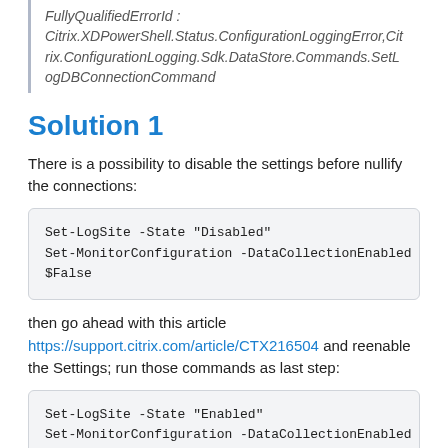FullyQualifiedErrorId : Citrix.XDPowerShell.Status.ConfigurationLoggingError,Citrix.ConfigurationLogging.Sdk.DataStore.Commands.SetLogDBConnectionCommand
Solution 1
There is a possibility to disable the settings before nullify the connections:
Set-LogSite -State "Disabled"
Set-MonitorConfiguration -DataCollectionEnabled $False
then go ahead with this article https://support.citrix.com/article/CTX216504 and reenable the Settings; run those commands as last step:
Set-LogSite -State "Enabled"
Set-MonitorConfiguration -DataCollectionEnabled $true